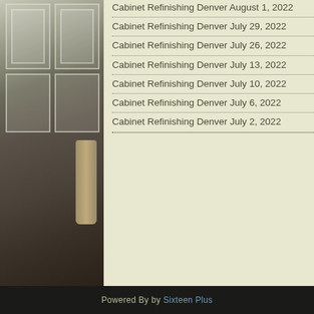[Figure (photo): Kitchen interior with white cabinet doors and dark hardwood floor, with a floral curtain visible on the right side of the photo.]
Cabinet Refinishing Denver August 1, 2022
Cabinet Refinishing Denver July 29, 2022
Cabinet Refinishing Denver July 26, 2022
Cabinet Refinishing Denver July 13, 2022
Cabinet Refinishing Denver July 10, 2022
Cabinet Refinishing Denver July 6, 2022
Cabinet Refinishing Denver July 2, 2022
Powered By by Sixteen Plus